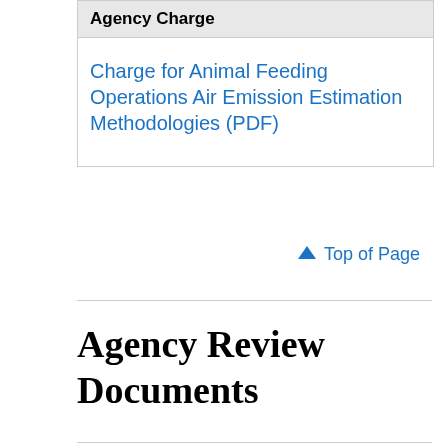| Agency Charge |
| --- |
| Charge for Animal Feeding Operations Air Emission Estimation Methodologies (PDF) |
↑ Top of Page
Agency Review Documents